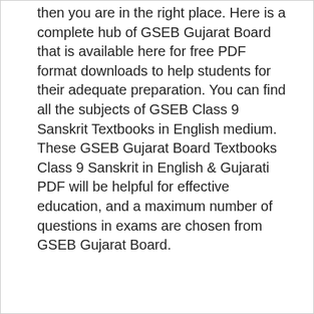then you are in the right place. Here is a complete hub of GSEB Gujarat Board that is available here for free PDF format downloads to help students for their adequate preparation. You can find all the subjects of GSEB Class 9 Sanskrit Textbooks in English medium. These GSEB Gujarat Board Textbooks Class 9 Sanskrit in English & Gujarati PDF will be helpful for effective education, and a maximum number of questions in exams are chosen from GSEB Gujarat Board.